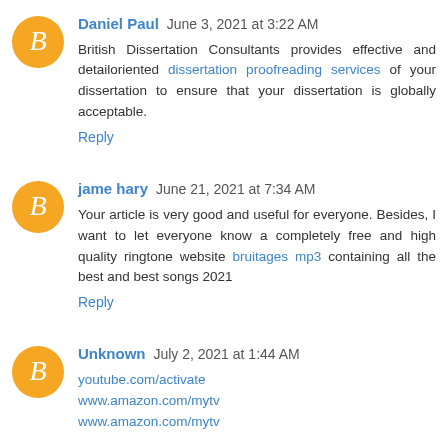Daniel Paul  June 3, 2021 at 3:22 AM
British Dissertation Consultants provides effective and detailoriented dissertation proofreading services of your dissertation to ensure that your dissertation is globally acceptable.
Reply
jame hary  June 21, 2021 at 7:34 AM
Your article is very good and useful for everyone. Besides, I want to let everyone know a completely free and high quality ringtone website bruitages mp3 containing all the best and best songs 2021
Reply
Unknown  July 2, 2021 at 1:44 AM
youtube.com/activate
www.amazon.com/mytv
www.amazon.com/mytv